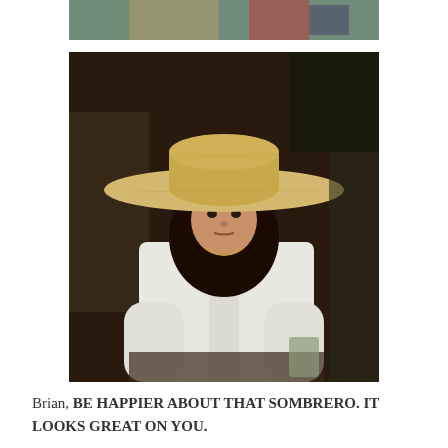[Figure (photo): Partial top photo, cropped, showing a scene at the top of the page]
[Figure (photo): Man wearing a large sombrero and white shirt, sitting at a table with a drink, with other people visible in the background]
Brian, BE HAPPIER ABOUT THAT SOMBRERO. IT LOOKS GREAT ON YOU.